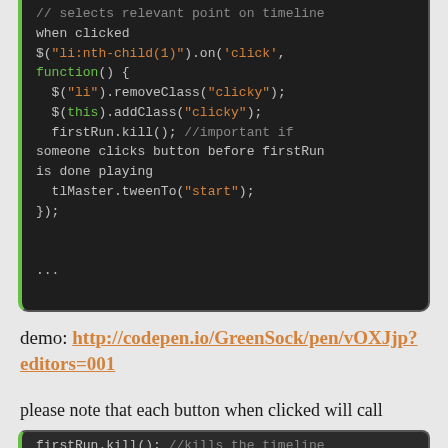[Figure (screenshot): Code block showing JavaScript jQuery code with syntax highlighting on dark background. Code shows event handler for li:nth-child(1) click event, removing and adding CSS classes, calling firstRun.kill() and tlMaster.tweenTo('start'). Ends with ellipsis.]
demo: http://codepen.io/GreenSock/pen/vOXJjp?editors=001
please note that each button when clicked will call
[Figure (screenshot): Code snippet showing: firstRun.kill(); //kills the timeline]